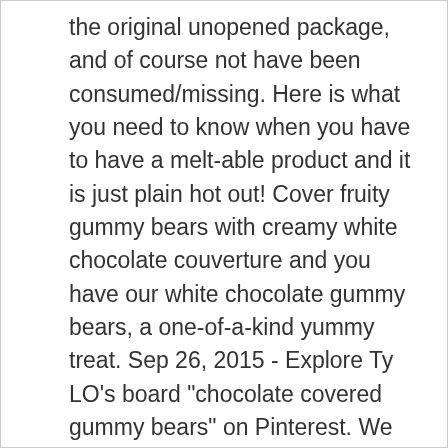the original unopened package, and of course not have been consumed/missing. Here is what you need to know when you have to have a melt-able product and it is just plain hot out! Cover fruity gummy bears with creamy white chocolate couverture and you have our white chocolate gummy bears, a one-of-a-kind yummy treat. Sep 26, 2015 - Explore Ty LO's board "chocolate covered gummy bears" on Pinterest. We cannot cover your shipping charges for returns and exchanges. https://www.albanesecandy.com/all-chocolate/milk-chocolate-gummi-bears 7 … Shop for Chocolate covered gummy bears Candy at PriceGrabber. A fresh, soft gummi bear covered in smooth milk chocolate. Thank you for your patience and understanding! bag from Groovycandies.com, America's Original Online Candy Store. Chocolate